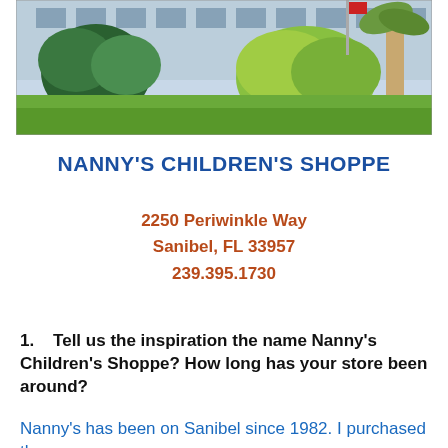[Figure (photo): Exterior photo of Nanny's Children's Shoppe building with green landscaping, shrubs, palm tree, and grass lawn in front of a light blue building.]
NANNY'S CHILDREN'S SHOPPE
2250 Periwinkle Way
Sanibel, FL 33957
239.395.1730
1.    Tell us the inspiration the name Nanny's Children's Shoppe? How long has your store been around?
Nanny's has been on Sanibel since 1982. I purchased the